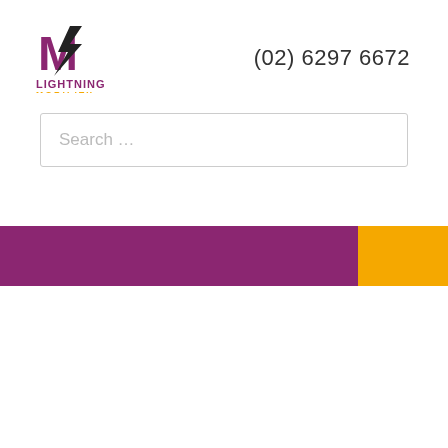[Figure (logo): Lightning Mobility logo with purple M and lightning bolt icon, with LIGHTNING in purple and MOBILITY in orange/yellow text]
(02) 6297 6672
Search ...
[Figure (other): Navigation bar with purple left section and yellow right section]